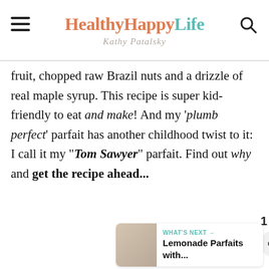Healthy Happy Life — Kathy Patalsky
fruit, chopped raw Brazil nuts and a drizzle of real maple syrup. This recipe is super kid-friendly to eat and make! And my 'plumb perfect' parfait has another childhood twist to it: I call it my "Tom Sawyer" parfait. Find out why and get the recipe ahead...
[Figure (infographic): Heart/like button (teal circle with heart icon), count of 1, and share button below]
[Figure (infographic): What's Next panel showing thumbnail image and text: Lemonade Parfaits with...]